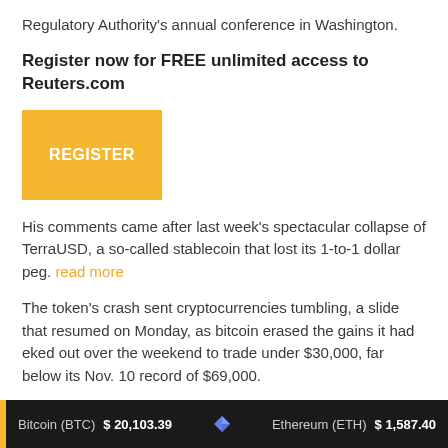Regulatory Authority's annual conference in Washington.
Register now for FREE unlimited access to Reuters.com
[Figure (other): Yellow REGISTER button for Reuters.com free access]
His comments came after last week's spectacular collapse of TerraUSD, a so-called stablecoin that lost its 1-to-1 dollar peg. read more
The token's crash sent cryptocurrencies tumbling, a slide that resumed on Monday, as bitcoin erased the gains it had eked out over the weekend to trade under $30,000, far below its Nov. 10 record of $69,000.
While crypto markets are thought of as decentralized, the
Bitcoin (BTC) $20,103.39   Ethereum (ETH) $1,587.40